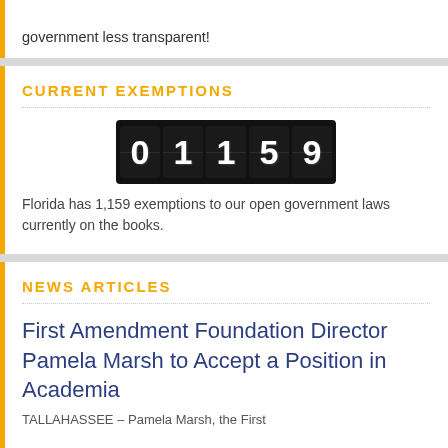government less transparent!
CURRENT EXEMPTIONS
[Figure (other): Odometer-style counter display showing the number 01159 in white digits on black background]
Florida has 1,159 exemptions to our open government laws currently on the books.
NEWS ARTICLES
First Amendment Foundation Director Pamela Marsh to Accept a Position in Academia
TALLAHASSEE – Pamela Marsh, the First